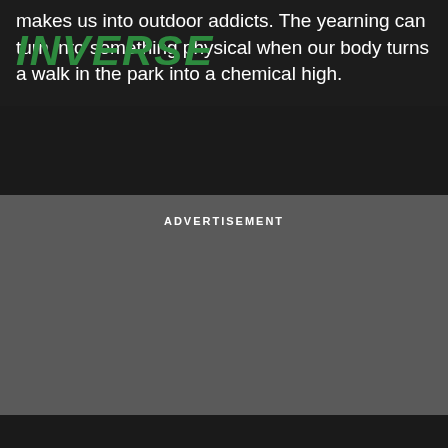makes us into outdoor addicts. The yearning can turn into something physical when our body turns a walk in the park into a chemical high.
[Figure (logo): INVERSE logo in bold green italic uppercase letters overlaid on article text]
ADVERTISEMENT
[Figure (other): Gray advertisement placeholder area]